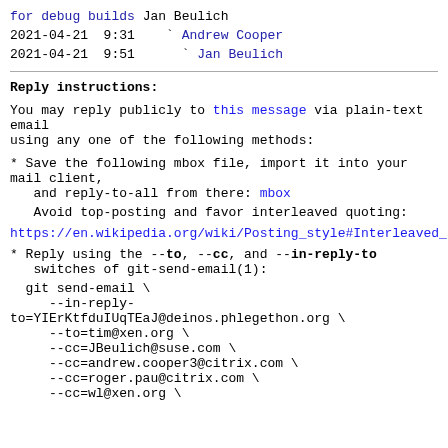for debug builds Jan Beulich
2021-04-21  9:31     ` Andrew Cooper
2021-04-21  9:51       ` Jan Beulich
Reply instructions:
You may reply publicly to this message via plain-text email
using any one of the following methods:
* Save the following mbox file, import it into your mail client,
   and reply-to-all from there: mbox
Avoid top-posting and favor interleaved quoting:
https://en.wikipedia.org/wiki/Posting_style#Interleaved_s
* Reply using the --to, --cc, and --in-reply-to
   switches of git-send-email(1):
git send-email \
     --in-reply-
to=YIErKtfduIUqTEaJ@deinos.phlegethon.org \
     --to=tim@xen.org \
     --cc=JBeulich@suse.com \
     --cc=andrew.cooper3@citrix.com \
     --cc=roger.pau@citrix.com \
     --cc=wl@xen.org \